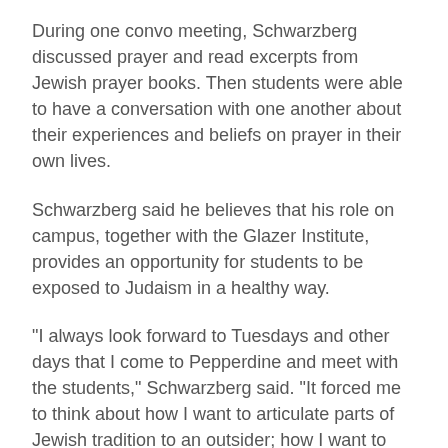During one convo meeting, Schwarzberg discussed prayer and read excerpts from Jewish prayer books. Then students were able to have a conversation with one another about their experiences and beliefs on prayer in their own lives.
Schwarzberg said he believes that his role on campus, together with the Glazer Institute, provides an opportunity for students to be exposed to Judaism in a healthy way.
"I always look forward to Tuesdays and other days that I come to Pepperdine and meet with the students," Schwarzberg said. "It forced me to think about how I want to articulate parts of Jewish tradition to an outsider; how I want to think about inspiring Jews that are at Pepperdine to care more, or invest a little bit more in their